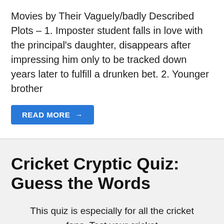Movies by Their Vaguely/badly Described Plots – 1. Imposter student falls in love with the principal's daughter, disappears after impressing him only to be tracked down years later to fulfill a drunken bet. 2. Younger brother
READ MORE →
Cricket Cryptic Quiz: Guess the Words
This quiz is especially for all the cricket fans. Test your cricket